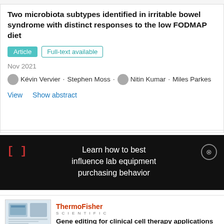Two microbiota subtypes identified in irritable bowel syndrome with distinct responses to the low FODMAP diet
Article · Full-text available
Nov 2021
Kévin Vervier · Stephen Moss · Nitin Kumar · Miles Parkes
View   Show abstract
[] Learn how to best influence lab equipment purchasing behavior
ThermoFisher SCIENTIFIC
Gene editing for clinical cell therapy applications